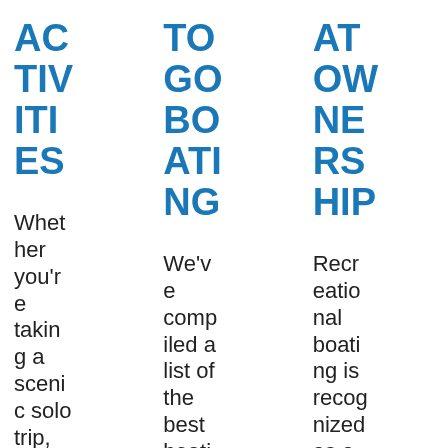ACTIVITIES
TO GO BOATING
AT OWNERSHIP
Whether you're taking a scenic solo trip, treating ng
We've compiled a list of the best boating ng
Recreational boating is recognized as a constructiv